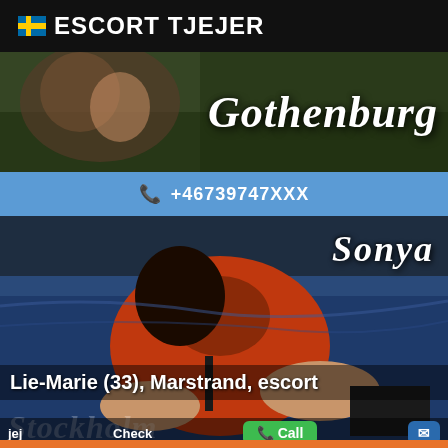ESCORT TJEJER
[Figure (photo): Gothenburg banner with text overlay reading 'Gothenburg' in white italic font over a dark greenish background]
+46739747XXX
[Figure (photo): Woman in red dress posed on blue satin bed with 'Sonya' text overlay, and bottom caption 'Lie-Marie (33), Marstrand, escort' with Stockholm watermark and Call/envelope buttons]